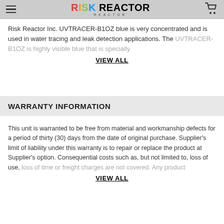Risk Reactor (logo and navigation header)
Risk Reactor Inc. UVTRACER-B1OZ blue is very concentrated and is used in water tracing and leak detection applications. The UVTRACER-B1OZ is highly visible blue that is specially [VIEW ALL]
WARRANTY INFORMATION
This unit is warranted to be free from material and workmanship defects for a period of thirty (30) days from the date of original purchase. Supplier's limit of liability under this warranty is to repair or replace the product at Supplier's option. Consequential costs such as, but not limited to, loss of use, loss of time or freight charges are not covered. Any product [VIEW ALL]